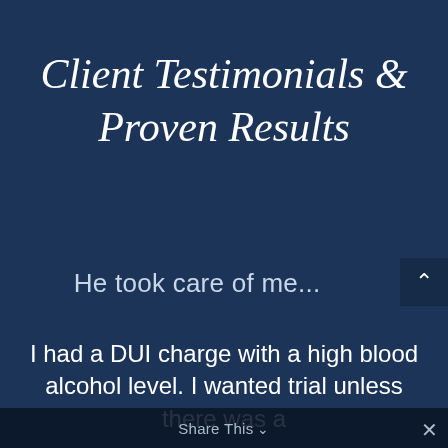Client Testimonials & Proven Results
He took care of me...
I had a DUI charge with a high blood alcohol level. I wanted trial unless there was a
Share This